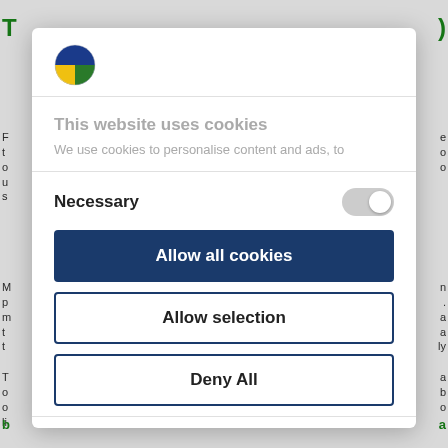[Figure (logo): Circular logo with blue and yellow/green sections, representing the website's brand]
This website uses cookies
We use cookies to personalise content and ads, to
Necessary
Allow all cookies
Allow selection
Deny All
Powered by Cookiebot by Usercentrics